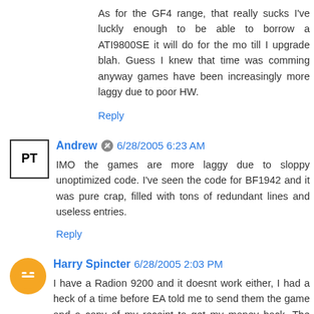As for the GF4 range, that really sucks I've luckly enough to be able to borrow a ATI9800SE it will do for the mo till I upgrade blah. Guess I knew that time was comming anyway games have been increasingly more laggy due to poor HW.
Reply
Andrew 6/28/2005 6:23 AM
IMO the games are more laggy due to sloppy unoptimized code. I've seen the code for BF1942 and it was pure crap, filled with tons of redundant lines and useless entries.
Reply
Harry Spincter 6/28/2005 2:03 PM
I have a Radion 9200 and it doesnt work either, I had a heck of a time before EA told me to send them the game and a copy of my receipt to get my money back. The funny part is that it supports the 8500 or greater, until you look at the trouble shooting portion and then it points out it doesnt